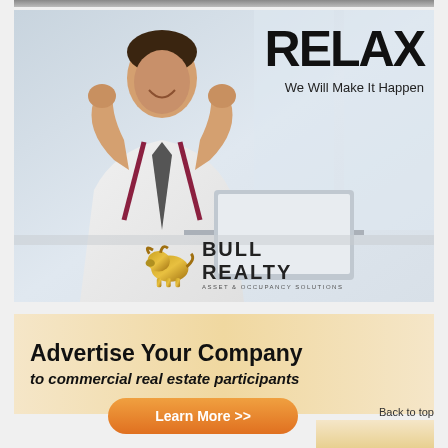[Figure (photo): Bull Realty advertisement with a relaxing businessman leaning back in chair with text RELAX We Will Make It Happen and the Bull Realty Asset & Occupancy Solutions logo with a golden bull icon]
[Figure (infographic): Advertisement banner with peach/cream gradient background and text: Advertise Your Company to commercial real estate participants, with an orange Learn More >> button]
Back to top